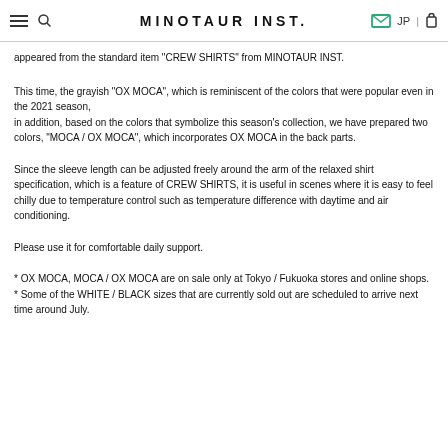MINOTAUR INST.
appeared from the standard item "CREW SHIRTS" from MINOTAUR INST.
This time, the grayish "OX MOCA", which is reminiscent of the colors that were popular even in the 2021 season,
in addition, based on the colors that symbolize this season's collection, we have prepared two colors, "MOCA / OX MOCA", which incorporates OX MOCA in the back parts.
Since the sleeve length can be adjusted freely around the arm of the relaxed shirt specification, which is a feature of CREW SHIRTS, it is useful in scenes where it is easy to feel chilly due to temperature control such as temperature difference with daytime and air conditioning.
Please use it for comfortable daily support.
* OX MOCA, MOCA / OX MOCA are on sale only at Tokyo / Fukuoka stores and online shops.
* Some of the WHITE / BLACK sizes that are currently sold out are scheduled to arrive next time around July.